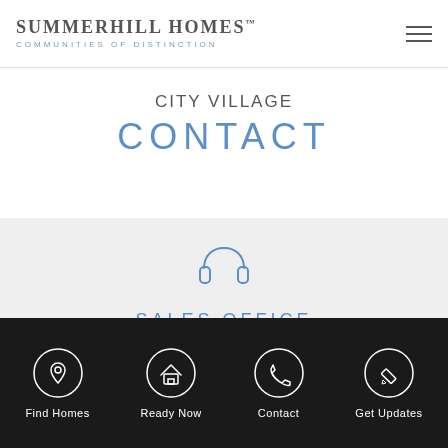SummerHill Homes™ Communities of Distinction
CITY VILLAGE
CONTACT
SALES OFFICE
2400 Camino Ramon
San Ramon, CA 94583
Find Homes | Ready Now | Contact | Get Updates